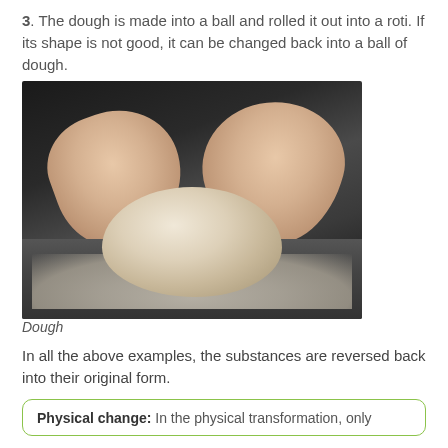3. The dough is made into a ball and rolled it out into a roti. If its shape is not good, it can be changed back into a ball of dough.
[Figure (photo): Hands kneading dough on a dark floured surface. The dough is a pale beige ball being worked by two hands dusted with flour.]
Dough
In all the above examples, the substances are reversed back into their original form.
Physical change: In the physical transformation, only